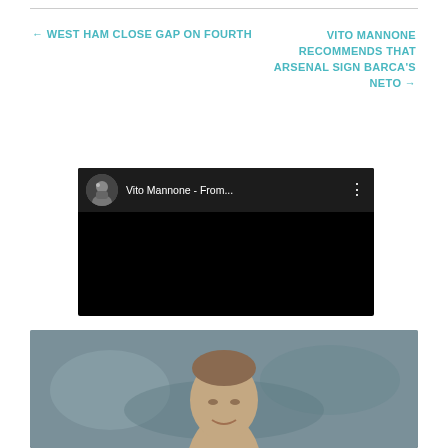← WEST HAM CLOSE GAP ON FOURTH
VITO MANNONE RECOMMENDS THAT ARSENAL SIGN BARCA'S NETO →
[Figure (screenshot): Embedded video player showing 'Vito Mannone - From...' with a dark/black background and a user avatar thumbnail on the left]
[Figure (photo): Photo of a man (footballer) with a shaved head against a blurred crowd background]